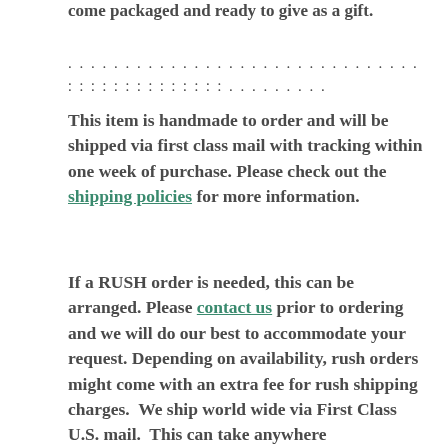come packaged and ready to give as a gift.
. . . . . . . . . . . . . . . . . . . . . . . . . . . . . . . . . . . . . . . . . . . . . . . . . . . . . . . . . . . . . . . . . . . . . . . . . . . .
This item is handmade to order and will be shipped via first class mail with tracking within one week of purchase. Please check out the shipping policies for more information.
If a RUSH order is needed, this can be arranged. Please contact us prior to ordering and we will do our best to accommodate your request. Depending on availability, rush orders might come with an extra fee for rush shipping charges.  We ship world wide via First Class U.S. mail.  This can take anywhere